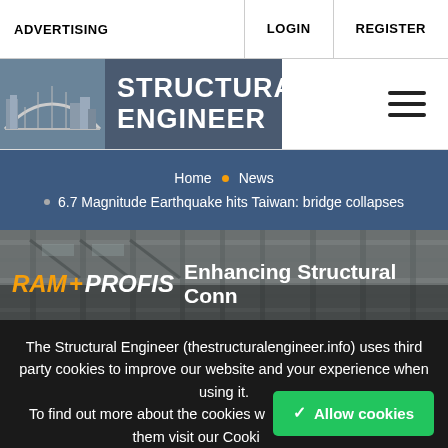ADVERTISING  LOGIN  REGISTER
[Figure (logo): Structural Engineer website logo with building illustration and text STRUCTURAL ENGINEER on grey background, with hamburger menu icon]
Home · News · 6.7 Magnitude Earthquake hits Taiwan: bridge collapses
[Figure (photo): Steel structural frame interior photo with overlay text RAM + PROFIS Enhancing Structural Conn]
The Structural Engineer (thestructuralengineer.info) uses third party cookies to improve our website and your experience when using it. To find out more about the cookies w... delete them visit our Cooki...
✓ Allow cookies